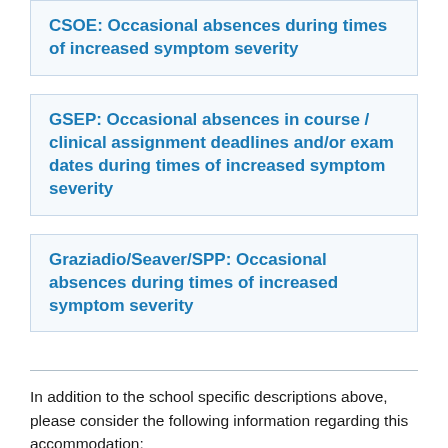CSOE: Occasional absences during times of increased symptom severity
GSEP: Occasional absences in course / clinical assignment deadlines and/or exam dates during times of increased symptom severity
Graziadio/Seaver/SPP: Occasional absences during times of increased symptom severity
In addition to the school specific descriptions above, please consider the following information regarding this accommodation:
Occasional absences during times of symptom flare...